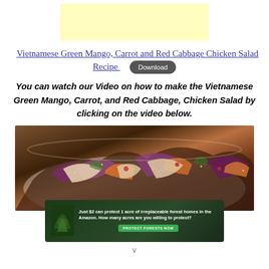[Figure (other): Yellow/cream colored advertisement banner placeholder]
Vietnamese Green Mango, Carrot and Red Cabbage Chicken Salad Recipe
You can watch our Video on how to make the Vietnamese Green Mango, Carrot, and Red Cabbage, Chicken Salad by clicking on the video below.
[Figure (photo): Photo of Vietnamese Green Mango, Carrot and Red Cabbage Chicken Salad in a white bowl, showing shredded vegetables and chicken]
[Figure (other): Amazon forest conservation advertisement: 'Just $2 can protect 1 acre of irreplaceable forest homes in the Amazon. How many acres are you willing to protect?' with PROTECT FORESTS NOW button]